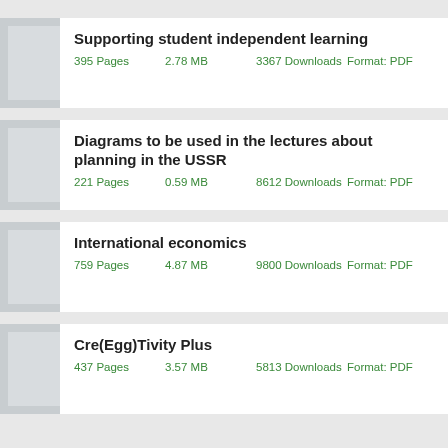Supporting student independent learning
395 Pages    2.78 MB    3367 Downloads    Format: PDF
Diagrams to be used in the lectures about planning in the USSR
221 Pages    0.59 MB    8612 Downloads    Format: PDF
International economics
759 Pages    4.87 MB    9800 Downloads    Format: PDF
Cre(Egg)Tivity Plus
437 Pages    3.57 MB    5813 Downloads    Format: PDF